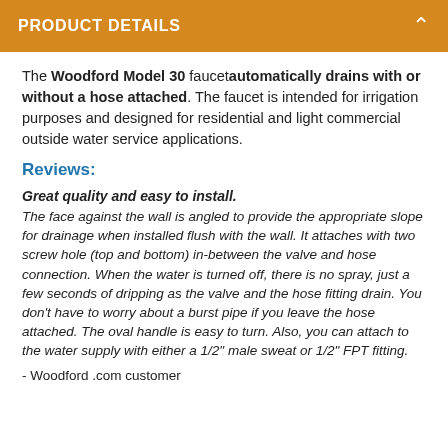PRODUCT DETAILS
The Woodford Model 30 faucet automatically drains with or without a hose attached. The faucet is intended for irrigation purposes and designed for residential and light commercial outside water service applications.
Reviews:
Great quality and easy to install.
The face against the wall is angled to provide the appropriate slope for drainage when installed flush with the wall. It attaches with two screw hole (top and bottom) in-between the valve and hose connection. When the water is turned off, there is no spray, just a few seconds of dripping as the valve and the hose fitting drain. You don't have to worry about a burst pipe if you leave the hose attached. The oval handle is easy to turn. Also, you can attach to the water supply with either a 1/2" male sweat or 1/2" FPT fitting.
- Woodford .com customer